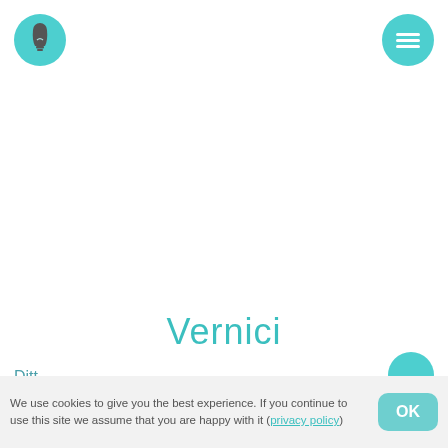[Figure (logo): Teal circle with white lightbulb icon, top-left corner]
[Figure (logo): Teal circle with white hamburger menu icon (three horizontal lines), top-right corner]
Vernici
Ditt...
[Figure (other): Partially visible teal circle at bottom-right, above cookie bar]
We use cookies to give you the best experience. If you continue to use this site we assume that you are happy with it (privacy policy)